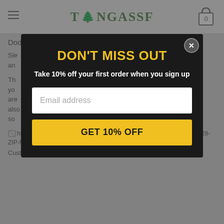TONGASSF
Dodgers hoodie sweatshirt
Sle... an...
Th... yo... are... also... so...
[Figure (screenshot): Broken image link: https://i0.wp.com/reborn66.com/wp-content/uploads/2021/09/1-MM3028-ZIP-front-9.jpg?fit=1080%2C1080&ssl=1]
Custom Name MLB Los Angeles Dodgers hoodie
[Figure (screenshot): Modal popup overlay with DON'T MISS OUT heading, 10% off offer, email input field, and GET 10% OFF button]